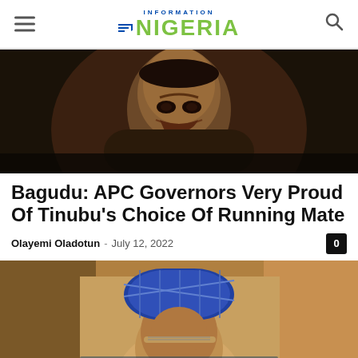Information Nigeria
[Figure (photo): Close-up portrait of a smiling dark-skinned man, seemingly Bagudu, against a dark background.]
Bagudu: APC Governors Very Proud Of Tinubu's Choice Of Running Mate
Olayemi Oladotun - July 12, 2022
[Figure (photo): Man wearing a blue patterned traditional cap and glasses, facing slightly sideways, against a wooden background.]